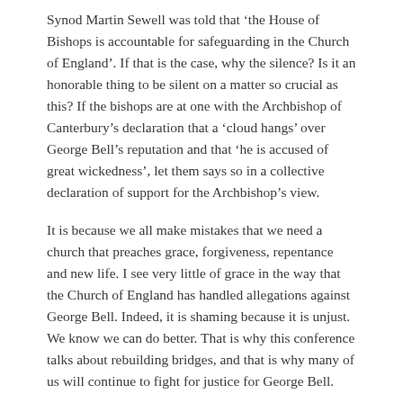Synod Martin Sewell was told that ‘the House of Bishops is accountable for safeguarding in the Church of England’. If that is the case, why the silence? Is it an honorable thing to be silent on a matter so crucial as this? If the bishops are at one with the Archbishop of Canterbury’s declaration that a ‘cloud hangs’ over George Bell’s reputation and that ‘he is accused of great wickedness’, let them says so in a collective declaration of support for the Archbishop’s view.
It is because we all make mistakes that we need a church that preaches grace, forgiveness, repentance and new life. I see very little of grace in the way that the Church of England has handled allegations against George Bell. Indeed, it is shaming because it is unjust. We know we can do better. That is why this conference talks about rebuilding bridges, and that is why many of us will continue to fight for justice for George Bell.
However, I want to end on a positive note. Rebuilding Bridges is central to the Christian faith and that is what we all want to do.